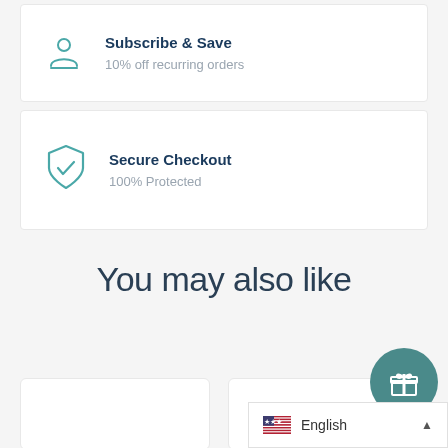Subscribe & Save
10% off recurring orders
Secure Checkout
100% Protected
You may also like
[Figure (other): Gift/rewards circular button icon, teal background]
English